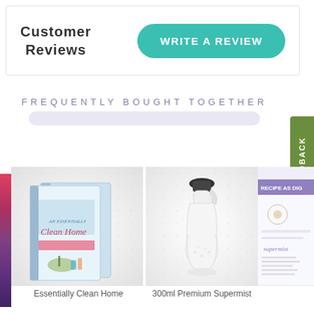Customer Reviews
WRITE A REVIEW
FREQUENTLY BOUGHT TOGETHER
GIVE US FEEDBACK
[Figure (photo): Book cover: An Essentially Clean Home]
[Figure (photo): 300ml Premium Supermist spray bottle, white]
[Figure (photo): Recipe as digital card product]
Essentially Clean Home
300ml Premium Supermist